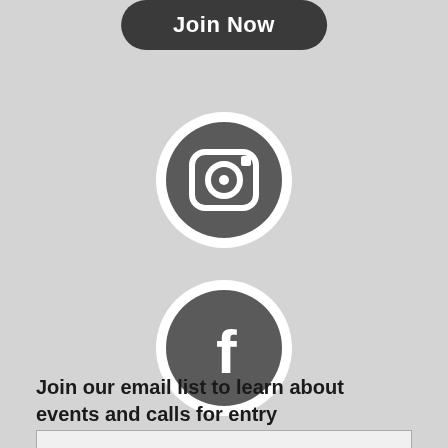Join Now
[Figure (logo): Instagram icon: circular button with dark grey background and white Instagram camera logo]
[Figure (logo): Facebook icon: circular button with dark grey background and white Facebook 'f' logo]
Join our email list to learn about events and calls for entry